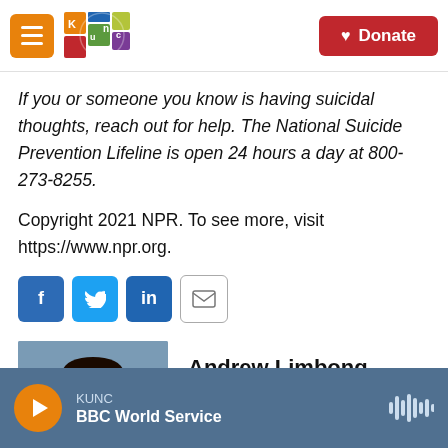KUNC logo and Donate button navigation bar
If you or someone you know is having suicidal thoughts, reach out for help. The National Suicide Prevention Lifeline is open 24 hours a day at 800-273-8255.
Copyright 2021 NPR. To see more, visit https://www.npr.org.
[Figure (other): Social share buttons: Facebook (f), Twitter (bird), LinkedIn (in), Email (envelope)]
[Figure (photo): Headshot photo of Andrew Limbong, smiling man with glasses and short hair, blue-gray background]
Andrew Limbong
KUNC / BBC World Service audio player